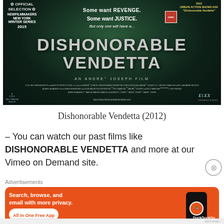[Figure (photo): Movie poster for Dishonorable Vendetta (2012). Dark teal/green background with the title 'DISHONORABLE VENDETTA' in large silver letters. Taglines read 'Some want REVENGE. Some want JUSTICE. But only one will have a...' Official selection laurel wreath on left for NewFilmmakers New York Winter Series 2015. Gold laurel on right for 2015 Urban Action Showcase. Subtitle: AN ANDRE JOSEPH FILM. Small credits and website at bottom.]
Dishonorable Vendetta (2012)
– You can watch our past films like DISHONORABLE VENDETTA and more at our Vimeo on Demand site.
Advertisements
[Figure (photo): DuckDuckGo advertisement banner with orange background. Text: 'Search, browse, and email with more privacy. All in One Free App' with a phone showing DuckDuckGo logo.]